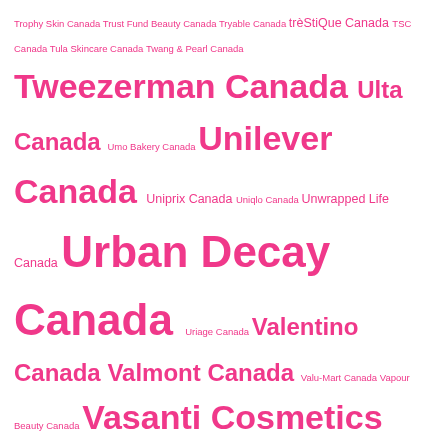Trophy Skin Canada Trust Fund Beauty Canada Tryable Canada trèStiQue Canada TSC Canada Tula Skincare Canada Twang & Pearl Canada Tweezerman Canada Ulta Canada Umo Bakery Canada Unilever Canada Uniprix Canada Uniqlo Canada Unwrapped Life Canada Urban Decay Canada Uriage Canada Valentino Canada Valmont Canada Valu-Mart Canada Vapour Beauty Canada Vasanti Cosmetics Canada Vaseline Canada VDL Canada Veet Canada Velour Beauty Canada Velour Lashes Canada Venus Canada Verb Canada Veriphy Skincare Canada Versace Canada Versed Canada Vichy Canada Viktor & Rolf Fragrances Canada Violet Voss Canada Virtue Labs Canada Visa Canada Viseart Canada Vitabath Canada Vita Liberta Canada Vlada Canada Voir Haircare Canada Volition Beauty Canada Voluspa Canada Vossity Canada W3ll People Canada Walmart Canada Wander Beauty Canada Way of Will Canada WaySpa Canada Websaver Canada Weleda Canada Well.ca Canada Wellwise Canada